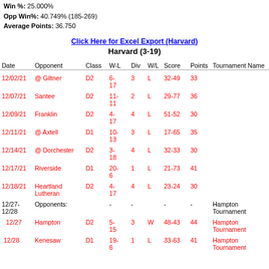Win %: 25.000%
Opp Win%: 40.749% (185-269)
Average Points: 36.750
Click Here for Excel Export (Harvard)
Harvard (3-19)
| Date | Opponent | Class | W-L | Div | W/L | Score | Points | Tournament Name |
| --- | --- | --- | --- | --- | --- | --- | --- | --- |
| 12/02/21 | @ Giltner | D2 | 6-17 | 3 | L | 32-49 | 33 |  |
| 12/07/21 | Santee | D2 | 11-11 | 2 | L | 29-77 | 36 |  |
| 12/09/21 | Franklin | D2 | 4-17 | 4 | L | 51-52 | 30 |  |
| 12/11/21 | @ Axtell | D1 | 10-13 | 3 | L | 17-65 | 35 |  |
| 12/14/21 | @ Dorchester | D2 | 3-18 | 4 | L | 32-33 | 30 |  |
| 12/17/21 | Riverside | D1 | 20-6 | 1 | L | 21-73 | 41 |  |
| 12/18/21 | Heartland Lutheran | D2 | 4-17 | 4 | L | 23-24 | 30 |  |
| 12/27-12/28 | Opponents: |  | - | - |  | - | - | Hampton Tournament |
| 12/27 | Hampton | D2 | 5-15 | 3 | W | 48-43 | 44 | Hampton Tournament |
| 12/28 | Kenesaw | D1 | 19-6 | 1 | L | 33-63 | 41 | Hampton Tournament |